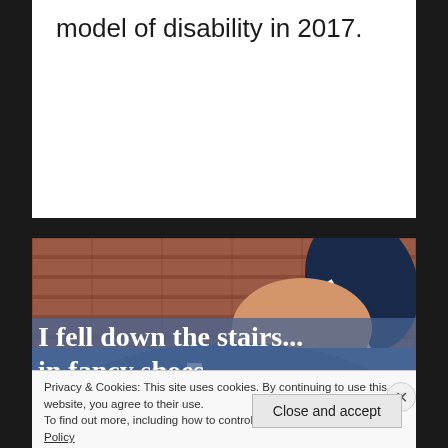model of disability in 2017.
[Figure (photo): Close-up photo of a person's lower back/hip area wearing a blue and white striped garment (possibly a shoe or outfit) against a red brick wall background.]
I fell down the stairs...
in fancy shoes
Privacy & Cookies: This site uses cookies. By continuing to use this website, you agree to their use.
To find out more, including how to control cookies, see here: Cookie Policy
Close and accept